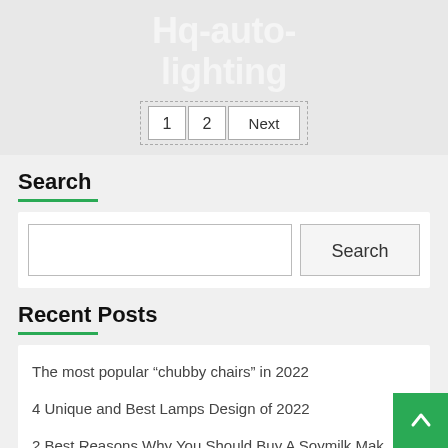Hq-auto-lighting
1  2  Next
Search
Search
Recent Posts
The most popular “chubby chairs” in 2022
4 Unique and Best Lamps Design of 2022
2 Best Reasons Why You Should Buy A Soymilk Mak…
How to choose a best soymilk maker in 2022